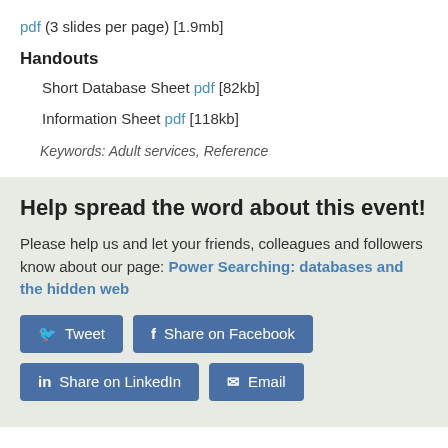pdf (3 slides per page) [1.9mb]
Handouts
Short Database Sheet pdf [82kb]
Information Sheet pdf [118kb]
Keywords: Adult services, Reference
Help spread the word about this event!
Please help us and let your friends, colleagues and followers know about our page: Power Searching: databases and the hidden web
Tweet  Share on Facebook  Share on LinkedIn  Email